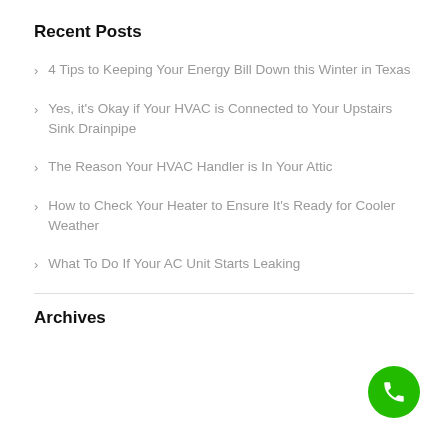Recent Posts
4 Tips to Keeping Your Energy Bill Down this Winter in Texas
Yes, it's Okay if Your HVAC is Connected to Your Upstairs Sink Drainpipe
The Reason Your HVAC Handler is In Your Attic
How to Check Your Heater to Ensure It's Ready for Cooler Weather
What To Do If Your AC Unit Starts Leaking
Archives